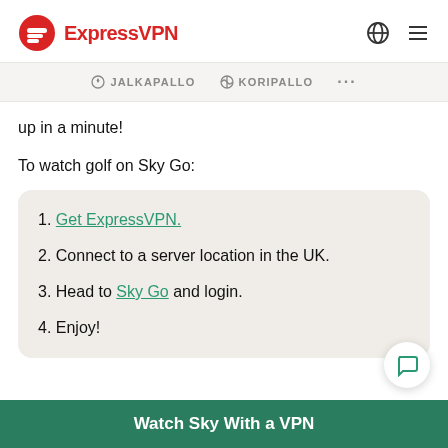ExpressVPN
JALKAPALLO  KORIPALLO  ...
up in a minute!
To watch golf on Sky Go:
1. Get ExpressVPN.
2. Connect to a server location in the UK.
3. Head to Sky Go and login.
4. Enjoy!
Watch Sky With a VPN